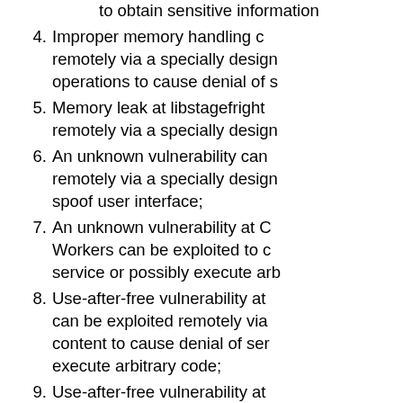(continuation) to obtain sensitive information
4. Improper memory handling can be exploited remotely via a specially designed operations to cause denial of service
5. Memory leak at libstagefright can be exploited remotely via a specially designed
6. An unknown vulnerability can be exploited remotely via a specially designed to spoof user interface;
7. An unknown vulnerability at Chrome Workers can be exploited to cause denial of service or possibly execute arbitrary code
8. Use-after-free vulnerability at can be exploited remotely via content to cause denial of service or execute arbitrary code;
9. Use-after-free vulnerability at can be exploited remotely via content to cause denial of service or execute arbitrary code;